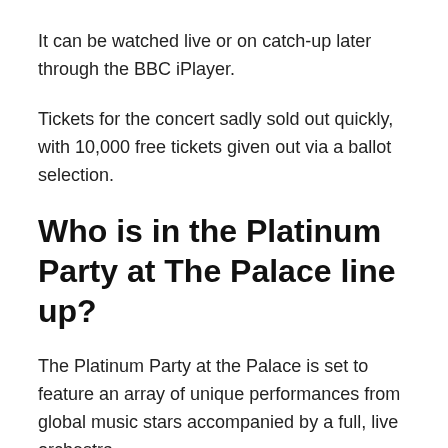It can be watched live or on catch-up later through the BBC iPlayer.
Tickets for the concert sadly sold out quickly, with 10,000 free tickets given out via a ballot selection.
Who is in the Platinum Party at The Palace line up?
The Platinum Party at the Palace is set to feature an array of unique performances from global music stars accompanied by a full, live orchestra.
Roman Kemp, the DJ and son of Spandau Ballet favourite Martin Kemp, will be presenting the festivities along with